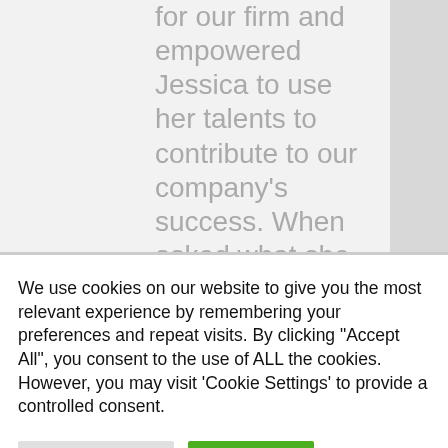for our firm and empowered Jessica to use her talents to contribute to our company's success. When asked what she loves most about her job, Jessica said, “The importance of my position. I love where I work so I enjoy making a good impression to represent the firm the best I can.”
We use cookies on our website to give you the most relevant experience by remembering your preferences and repeat visits. By clicking “Accept All”, you consent to the use of ALL the cookies. However, you may visit 'Cookie Settings' to provide a controlled consent.